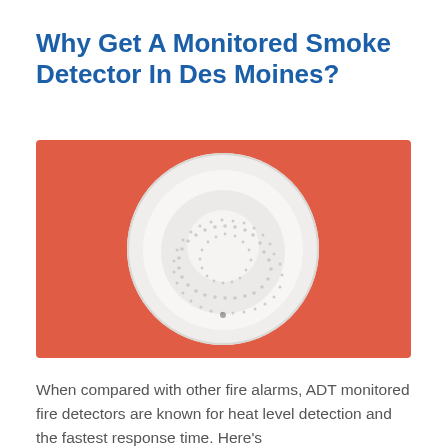Why Get A Monitored Smoke Detector In Des Moines?
[Figure (photo): A white circular smoke detector with a dotted/perforated speaker pattern, photographed against a coral/salmon-red background.]
When compared with other fire alarms, ADT monitored fire detectors are known for heat level detection and the fastest response time. Here's